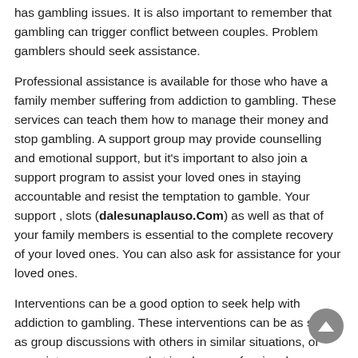has gambling issues. It is also important to remember that gambling can trigger conflict between couples. Problem gamblers should seek assistance.
Professional assistance is available for those who have a family member suffering from addiction to gambling. These services can teach them how to manage their money and stop gambling. A support group may provide counselling and emotional support, but it's important to also join a support program to assist your loved ones in staying accountable and resist the temptation to gamble. Your support , slots (dalesunaplauso.Com) as well as that of your family members is essential to the complete recovery of your loved ones. You can also ask for assistance for your loved ones.
Interventions can be a good option to seek help with addiction to gambling. These interventions can be as simple as group discussions with others in similar situations, or more intense programs that involve a professional counselor. If you're in search of a treatment for gambling addiction or a support group for people suffering from this disease There is a remedy for anyone. This article will give a quick guide to the different kinds of treatment offered to